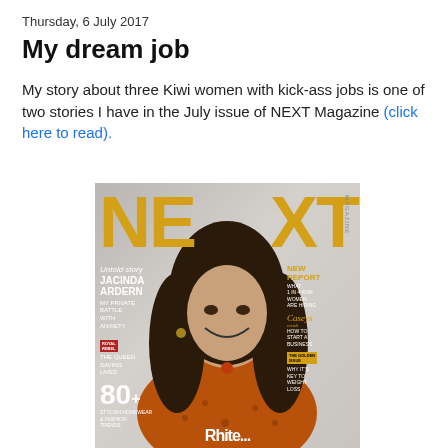Thursday, 6 July 2017
My dream job
My story about three Kiwi women with kick-ass jobs is one of two stories I have in the July issue of NEXT Magazine (click here to read).
[Figure (photo): Cover of NEXT Magazine July 2017 issue featuring a smiling woman with long dark hair wearing an orange lace top. The cover includes text: Untold story, JACINDA ARDERN, MY PRIVATE BATTLE WITH ANXIETY, ROYAL REBEL, THE QUEEN SAVING LIVES, 80+, NEW REPORT, WHAT 1 IN 4 KIWI WOMEN ARE HIDING, Casey's crush, HOW TO START A BUSINESS, THE GOLDEN ISSUE, WHY IT'S KEY TO WEIGHT LOSS, STYLISH HOMEWEAR & FASHION TRENDS]